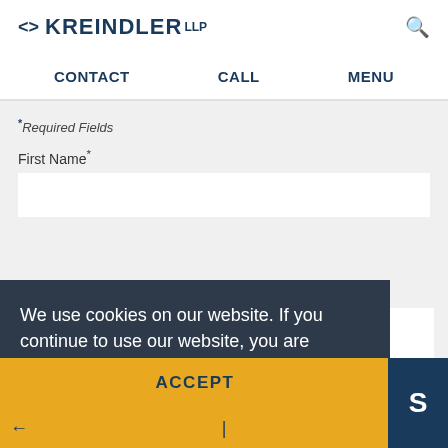[Figure (logo): Kreindler LLP law firm logo with arrow brackets and firm name]
CONTACT   CALL   MENU
*Required Fields
First Name*
Last Name*
Phone*
Email*
We use cookies on our website. If you continue to use our website, you are consenting to our use of cookies in accordance with our Privacy Policy. Learn more
ACCEPT